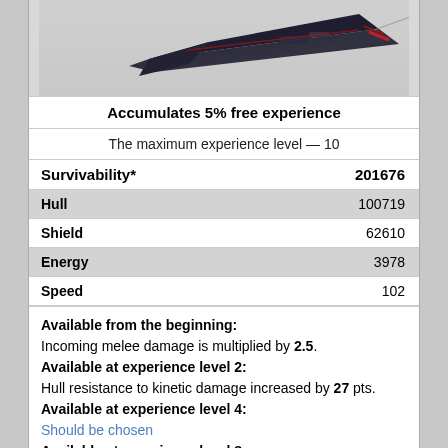[Figure (illustration): A dark sci-fi spaceship/warship viewed from above-side angle, black and red coloring, against a light gray background.]
Accumulates 5% free experience
The maximum experience level — 10
|  |  |
| --- | --- |
| Survivability* | 201676 |
| Hull | 100719 |
| Shield | 62610 |
| Energy | 3978 |
| Speed | 102 |
Available from the beginning:
Incoming melee damage is multiplied by 2.5.
Available at experience level 2:
Hull resistance to kinetic damage increased by 27 pts.
Available at experience level 4:
Should be chosen
Available at experience level 8:
Should be chosen
Equipment upon purchase
Weapons